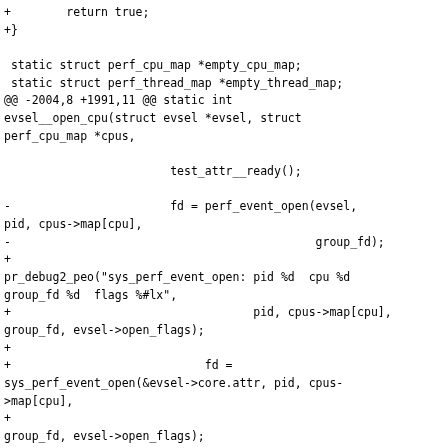+        return true;
+}

 static struct perf_cpu_map *empty_cpu_map;
 static struct perf_thread_map *empty_thread_map;
@@ -2004,8 +1991,11 @@ static int evsel__open_cpu(struct evsel *evsel, struct perf_cpu_map *cpus,

                             test_attr__ready();

-                            fd = perf_event_open(evsel, pid, cpus->map[cpu],
-                                                 group_fd);
+
pr_debug2_peo("sys_perf_event_open: pid %d  cpu %d  group_fd %d  flags %#lx",
+                                   pid, cpus->map[cpu], group_fd, evsel->open_flags);
+
+                            fd =
sys_perf_event_open(&evsel->core.attr, pid, cpus->map[cpu],
+
group_fd, evsel->open_flags);

                             FD(evsel, cpu, thread) = fd;

@@ -2058,6 +2048,9 @@ static int evsel__open_cpu(struct evsel *evsel, struct perf_cpu_map *cpus,